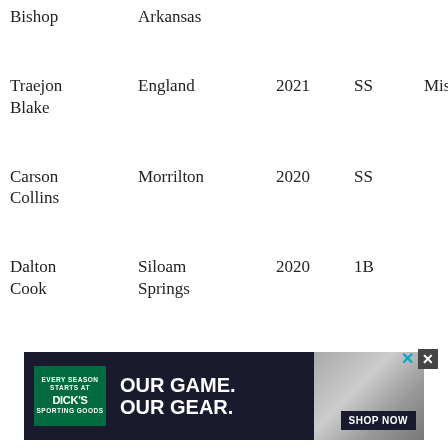| Name | City | Year | Pos | State |
| --- | --- | --- | --- | --- |
| Bishop | Arkansas |  |  |  |
| Traejon Blake | England | 2021 | SS | Missouri |
| Carson Collins | Morrilton | 2020 | SS |  |
| Dalton Cook | Siloam Springs | 2020 | 1B |  |
| Luke Davenport | Fayetteville | 2020 | RHP |  |
| Cooper Dossett | Har-Ber | 2022 | OF |  |
| Ethan |  |  |  |  |
[Figure (infographic): Dick's Sporting Goods advertisement banner: 'OUR GAME. OUR GEAR.' with SHOP NOW button and baseball player photo. Has close (X) buttons.]